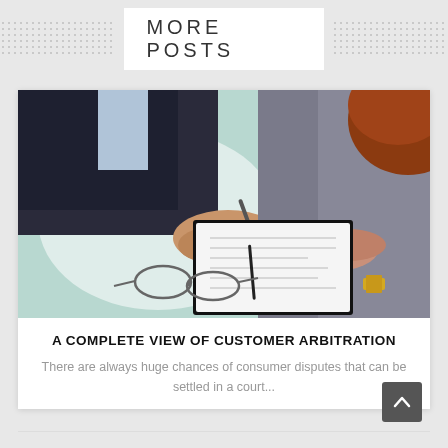MORE POSTS
[Figure (photo): Two people at a desk reviewing and signing documents; one holds a pen, glasses lay on the table, a watch visible on one person's wrist]
A COMPLETE VIEW OF CUSTOMER ARBITRATION
There are always huge chances of consumer disputes that can be settled in a court...